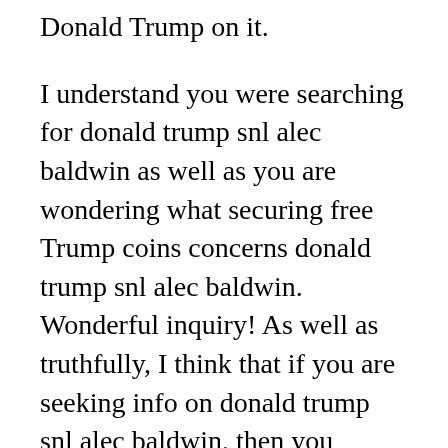Donald Trump on it.
I understand you were searching for donald trump snl alec baldwin as well as you are wondering what securing free Trump coins concerns donald trump snl alec baldwin. Wonderful inquiry! As well as truthfully, I think that if you are seeking info on donald trump snl alec baldwin, then you would love to get a cost-free collectible Trump coin on your own or buy a couple of as a gift for a good friend or family member. Otherwise, I apologize and pray you will certainly have a wonderful day!